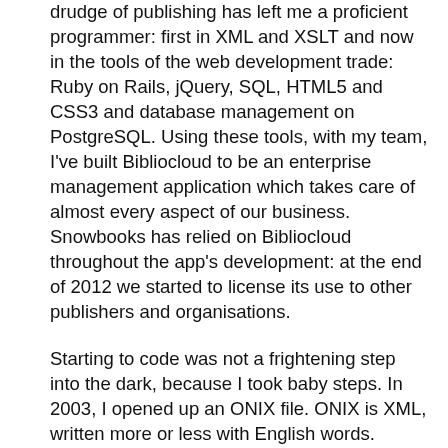drudge of publishing has left me a proficient programmer: first in XML and XSLT and now in the tools of the web development trade: Ruby on Rails, jQuery, SQL, HTML5 and CSS3 and database management on PostgreSQL. Using these tools, with my team, I've built Bibliocloud to be an enterprise management application which takes care of almost every aspect of our business. Snowbooks has relied on Bibliocloud throughout the app's development: at the end of 2012 we started to license its use to other publishers and organisations.
Starting to code was not a frightening step into the dark, because I took baby steps. In 2003, I opened up an ONIX file. ONIX is XML, written more or less with English words. Figuring I could use it to populate AI templates, I tinkered with manipulating the XML until that was second nature. Coding is very moreish — start down the road, take small, incremental steps. Let the years pass and before you know it, you've got your 10,000 hours under your belt.
You shouldn't think that you could never learn to code. My mental arithmetic skills are worse than my 6 year old's. I